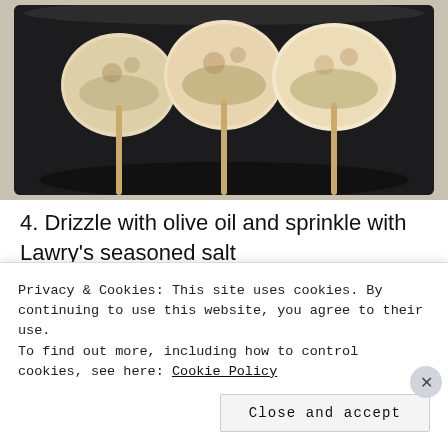[Figure (photo): Photo of mushrooms on skewers/sticks on a dark tray, partially cropped at top]
4. Drizzle with olive oil and sprinkle with Lawry’s seasoned salt
5. Grill on high until vegetables are tender. Roughly 20 mins, turning every 5 mins.
[Figure (photo): Social section with circular avatar photos of people and a blue button with plus icon]
Privacy & Cookies: This site uses cookies. By continuing to use this website, you agree to their use.
To find out more, including how to control cookies, see here: Cookie Policy
Close and accept